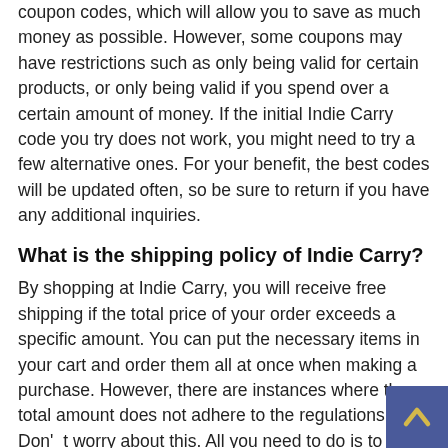coupon codes, which will allow you to save as much money as possible. However, some coupons may have restrictions such as only being valid for certain products, or only being valid if you spend over a certain amount of money. If the initial Indie Carry code you try does not work, you might need to try a few alternative ones. For your benefit, the best codes will be updated often, so be sure to return if you have any additional inquiries.
What is the shipping policy of Indie Carry?
By shopping at Indie Carry, you will receive free shipping if the total price of your order exceeds a specific amount. You can put the necessary items in your cart and order them all at once when making a purchase. However, there are instances where the total amount does not adhere to the regulations. Don't worry about this. All you need to do is to use the coupon codes and you'll get free shipping. We all wish you a pleasant shopping experience!